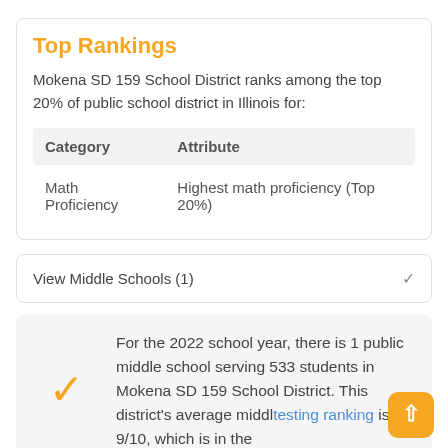Top Rankings
Mokena SD 159 School District ranks among the top 20% of public school district in Illinois for:
| Category | Attribute |
| --- | --- |
| Math Proficiency | Highest math proficiency (Top 20%) |
View Middle Schools (1)
For the 2022 school year, there is 1 public middle school serving 533 students in Mokena SD 159 School District. This district's average middle testing ranking is 9/10, which is in the